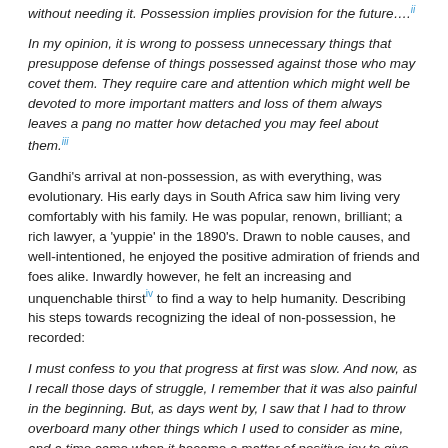without needing it. Possession implies provision for the future….ii
In my opinion, it is wrong to possess unnecessary things that presuppose defense of things possessed against those who may covet them. They require care and attention which might well be devoted to more important matters and loss of them always leaves a pang no matter how detached you may feel about them.iii
Gandhi's arrival at non-possession, as with everything, was evolutionary. His early days in South Africa saw him living very comfortably with his family. He was popular, renown, brilliant; a rich lawyer, a 'yuppie' in the 1890's. Drawn to noble causes, and well-intentioned, he enjoyed the positive admiration of friends and foes alike. Inwardly however, he felt an increasing and unquenchable thirstiv to find a way to help humanity. Describing his steps towards recognizing the ideal of non-possession, he recorded:
I must confess to you that progress at first was slow. And now, as I recall those days of struggle, I remember that it was also painful in the beginning. But, as days went by, I saw that I had to throw overboard many other things which I used to consider as mine, and a time came when it became a matter of positive joy to give up those things. And, one after another then, by almost geometric progression, the things slipped away from me. And, as I am describing my experiences, I can